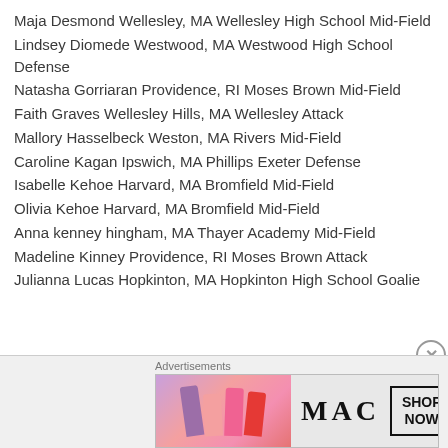Maja Desmond Wellesley, MA Wellesley High School Mid-Field
Lindsey Diomede Westwood, MA Westwood High School Defense
Natasha Gorriaran Providence, RI Moses Brown Mid-Field
Faith Graves Wellesley Hills, MA Wellesley Attack
Mallory Hasselbeck Weston, MA Rivers Mid-Field
Caroline Kagan Ipswich, MA Phillips Exeter Defense
Isabelle Kehoe Harvard, MA Bromfield Mid-Field
Olivia Kehoe Harvard, MA Bromfield Mid-Field
Anna kenney hingham, MA Thayer Academy Mid-Field
Madeline Kinney Providence, RI Moses Brown Attack
Julianna Lucas Hopkinton, MA Hopkinton High School Goalie
[Figure (advertisement): MAC Cosmetics advertisement showing lipsticks with SHOP NOW button]